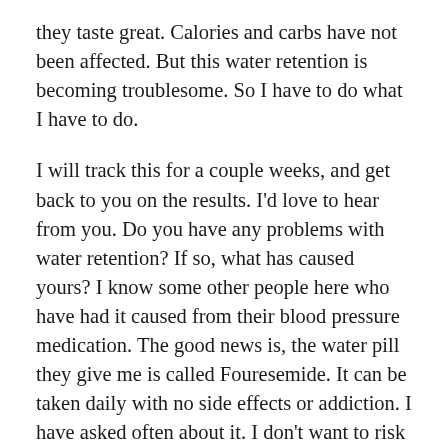they taste great. Calories and carbs have not been affected. But this water retention is becoming troublesome. So I have to do what I have to do.
I will track this for a couple weeks, and get back to you on the results. I'd love to hear from you. Do you have any problems with water retention? If so, what has caused yours? I know some other people here who have had it caused from their blood pressure medication. The good news is, the water pill they give me is called Fouresemide. It can be taken daily with no side effects or addiction. I have asked often about it. I don't want to risk my kidney function.
One other thing I need to do, is sweat. I need to